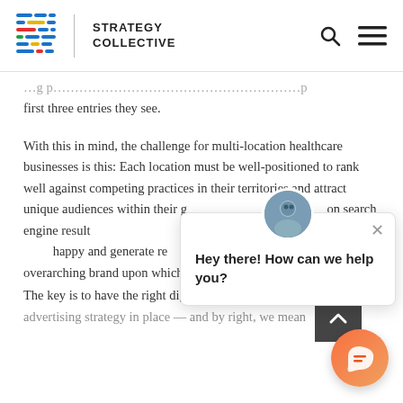STRATEGY COLLECTIVE
first three entries they see.
With this in mind, the challenge for multi-location healthcare businesses is this: Each location must be well-positioned to rank well against competing practices in their territories and attract unique audiences within their g[eographic area] on search engine result[s pages. Moreover,] they must attract new p[atients, keep them] happy and generate re[venue, and] ultimately bolster the overarching brand upon which they belong.
The key is to have the right digital marketing and advertising strategy in place — and by right, we mean
[Figure (photo): Chat support popup showing avatar photo of a man and text 'Hey there! How can we help you?' with a close button]